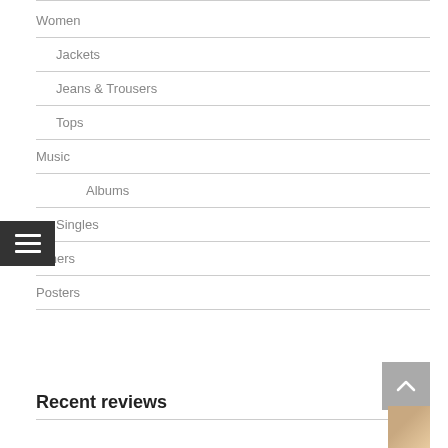Women
Jackets
Jeans & Trousers
Tops
Music
Albums
Singles
Others
Posters
Recent reviews
[Figure (photo): Thumbnail image of a person, partially visible at bottom right]